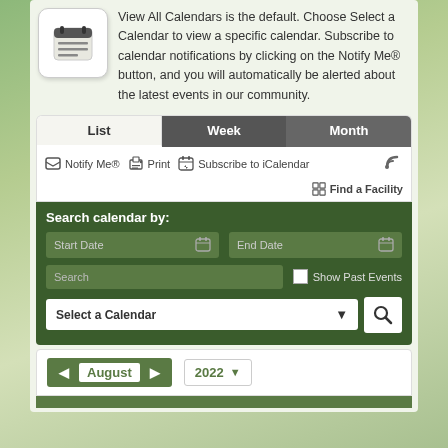[Figure (illustration): Calendar icon with lines representing entries on a white rounded square background]
View All Calendars is the default. Choose Select a Calendar to view a specific calendar. Subscribe to calendar notifications by clicking on the Notify Me® button, and you will automatically be alerted about the latest events in our community.
List | Week | Month (tab navigation)
Notify Me®
Print
Subscribe to iCalendar
Find a Facility
Search calendar by:
Start Date
End Date
Search
Show Past Events
Select a Calendar
August
2022